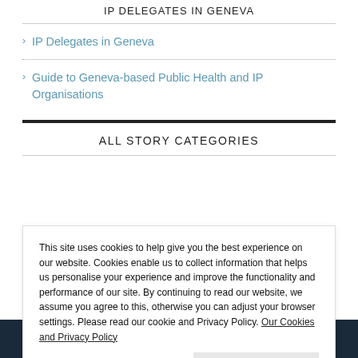IP DELEGATES IN GENEVA
IP Delegates in Geneva
Guide to Geneva-based Public Health and IP Organisations
ALL STORY CATEGORIES
This site uses cookies to help give you the best experience on our website. Cookies enable us to collect information that helps us personalise your experience and improve the functionality and performance of our site. By continuing to read our website, we assume you agree to this, otherwise you can adjust your browser settings. Please read our cookie and Privacy Policy. Our Cookies and Privacy Policy
Close and accept
Français